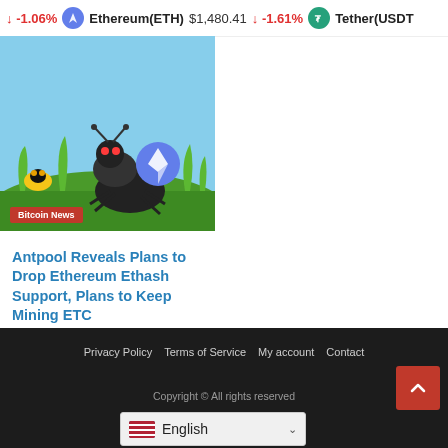-1.06%  Ethereum(ETH)  $1,480.41  -1.61%  Tether(USDT
[Figure (illustration): Cartoon ant characters in a grassy field, one large ant holding an Ethereum logo coin]
Bitcoin News
Antpool Reveals Plans to Drop Ethereum Ethash Support, Plans to Keep Mining ETC
3 hours ago
Privacy Policy  Terms of Service  My account  Contact
Copyright © All rights reserved
English